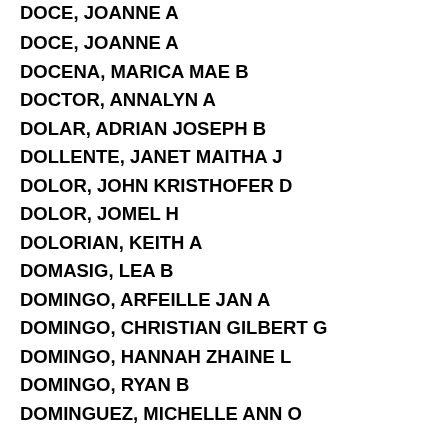DOCE, JOANNE A
DOCENA, MARICA MAE B
DOCTOR, ANNALYN A
DOLAR, ADRIAN JOSEPH B
DOLLENTE, JANET MAITHA J
DOLOR, JOHN KRISTHOFER D
DOLOR, JOMEL H
DOLORIAN, KEITH A
DOMASIG, LEA B
DOMINGO, ARFEILLE JAN A
DOMINGO, CHRISTIAN GILBERT G
DOMINGO, HANNAH ZHAINE L
DOMINGO, RYAN B
DOMINGUEZ, MICHELLE ANN O